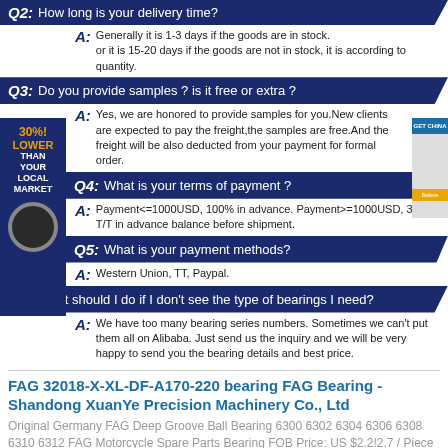Q2: How long is your delivery time?
Generally it is 1-3 days if the goods are in stock.
or it is 15-20 days if the goods are not in stock, it is according to quantity.
Q3: Do you provide samples ? is it free or extra ?
Yes, we are honored to provide samples for you.New clients are expected to pay the freight,the samples are free.And the freight will be also deducted from your payment for formal order.
Q4: What is your terms of payment ?
Payment<=1000USD, 100% in advance. Payment>=1000USD, 30% T/T in advance balance before shipment.
Q5: What is your payment methods?
Western Union, TT, Paypal.
Q6: What should I do if I don't see the type of bearings I need?
We have too many bearing series numbers. Sometimes we can't put them all on Alibaba. Just send us the inquiry and we will be very happy to send you the bearing details and best price.
FAG 32018-X-XL-DF-A170-220 bearing FAG Bearing - Shandong XuanYe Precision Machinery Co., Ltd
Original Germany FAG Deep Groove Ball Bearing 6300 6302 6304 6306 6308 6310 6312 FAG Motorcycle Spare Parts Bearing FOB Price: US $2.2!2.7 / Piece Min. Order:1 Piece